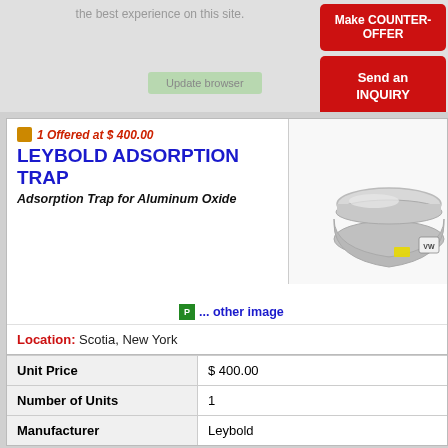the best experience on this site.
Make COUNTER-OFFER
Send an INQUIRY
1 Offered at $ 400.00
LEYBOLD ADSORPTION TRAP
Adsorption Trap for Aluminum Oxide
[Figure (photo): Photo of a Leybold adsorption trap, a round metallic bowl-shaped device with a lid, on a white background]
... other image
Location: Scotia, New York
| Unit Price | $ 400.00 |
| Number of Units | 1 |
| Manufacturer | Leybold |